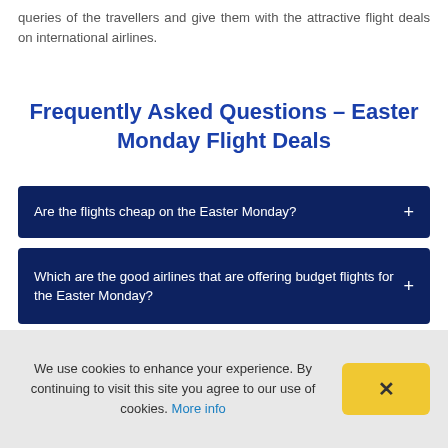queries of the travellers and give them with the attractive flight deals on international airlines.
Frequently Asked Questions – Easter Monday Flight Deals
Are the flights cheap on the Easter Monday?
Which are the good airlines that are offering budget flights for the Easter Monday?
What are the best places that travellers can think of visiting on the Easter Monday?
We use cookies to enhance your experience. By continuing to visit this site you agree to our use of cookies. More info